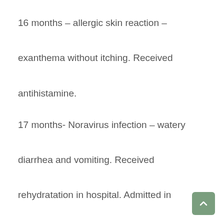16 months – allergic skin reaction – exanthema without itching. Received antihistamine.
17 months- Noravirus infection – watery diarrhea and vomiting. Received rehydratation in hospital. Admitted in hospital for 5 days with improvement of health – no diarrhea, normal temeprature, no vomiting. After 3 days at home again subfebrile temperature and vomiting.